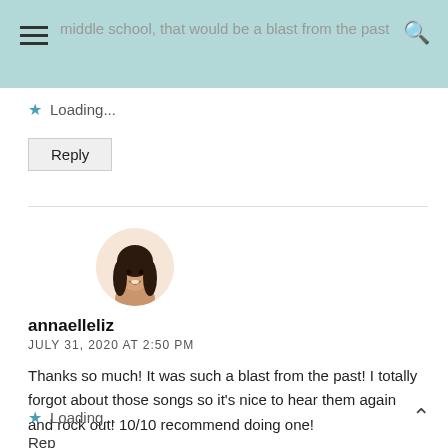middle school, that would be a blast from the past
Loading...
Reply
[Figure (illustration): Circular avatar with illustrated portrait of a woman with dark hair, smiling, on a peach/beige background]
annaelleliz
JULY 31, 2020 AT 2:50 PM
Thanks so much! It was such a blast from the past! I totally forgot about those songs so it's nice to hear them again and rock out! 10/10 recommend doing one!
Loading...